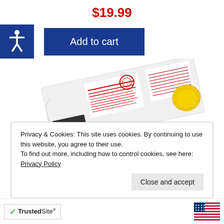$19.99
[Figure (screenshot): Accessibility icon button (white figure on blue background) and 'Add to cart' blue button]
[Figure (photo): Product package - appears to be a medical or pest control product, tilted at an angle, partially visible, with a yellow cap/lid visible on the right]
Privacy & Cookies: This site uses cookies. By continuing to use this website, you agree to their use.
To find out more, including how to control cookies, see here: Privacy Policy
Close and accept
TrustedSite